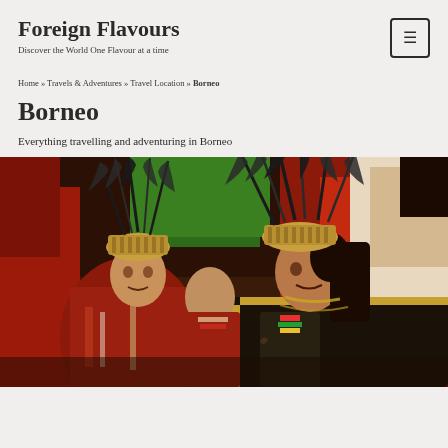Foreign Flavours
Discover the World One Flavour at a time
Home » Travels & Adventures » Travel Location » Borneo
Borneo
Everything travelling and adventuring in Borneo
[Figure (photo): Two indigenous Dayak people wearing traditional woven rattan headdresses with tall feathers, dressed in red and dark traditional costumes, in a ceremonial setting with colorful background]